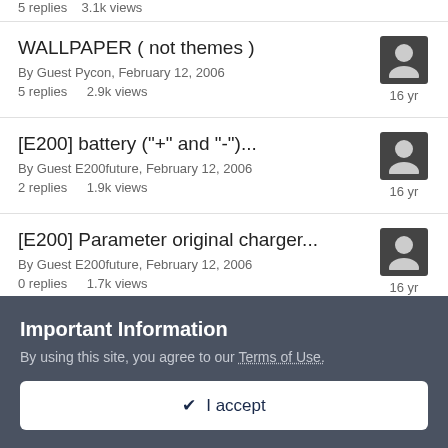5 replies   3.1k views
WALLPAPER ( not themes )
By Guest Pycon, February 12, 2006
5 replies   2.9k views — 16 yr
[E200] battery ("+" and "-")...
By Guest E200future, February 12, 2006
2 replies   1.9k views — 16 yr
[E200] Parameter original charger...
By Guest E200future, February 12, 2006
0 replies   1.7k views — 16 yr
Important Information
By using this site, you agree to our Terms of Use.
✔  I accept